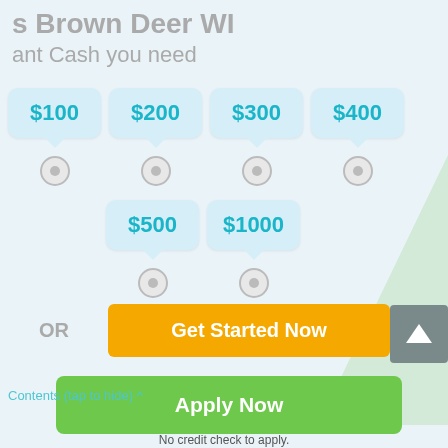s Brown Deer WI
ant Cash you need
[Figure (infographic): Loan amount selector with radio buttons showing options: $100, $200, $300, $400 (top row) and $500, $1000 (bottom row), each in a light blue speech bubble with a radio button below.]
OR
Get Started Now
Apply Now
Contents (tap to hide) ^
Applying does NOT affect your credit score!
No credit check to apply.